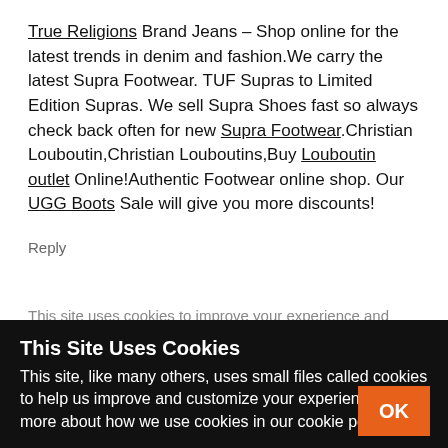True Religions Brand Jeans – Shop online for the latest trends in denim and fashion.We carry the latest Supra Footwear. TUF Supras to Limited Edition Supras. We sell Supra Shoes fast so always check back often for new Supra Footwear.Christian Louboutin,Christian Louboutins,Buy Louboutin outlet Online!Authentic Footwear online shop. Our UGG Boots Sale will give you more discounts!
Reply
This site uses cookies...
This Site Uses Cookies
This site, like many others, uses small files called cookies to help us improve and customize your experience. Learn more about how we use cookies in our cookie policy.